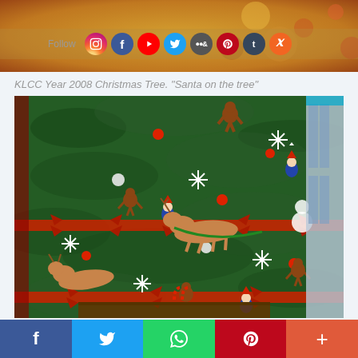[Figure (photo): Top banner with warm golden/orange bokeh background and social media follow icons including Instagram, Facebook, YouTube, Twitter, Flickr, Pinterest, Tumblr, RSS]
KLCC Year 2008 Christmas Tree. "Santa on the tree"
[Figure (photo): Close-up photo of a large Christmas tree decorated with Santa figurines, reindeer, gingerbread men, snowflakes, snowmen, candy canes, red balls and red ribbon bows. Background shows the interior of KLCC mall.]
[Figure (infographic): Bottom social sharing bar with buttons for Facebook, Twitter, WhatsApp, Pinterest, and More (+)]